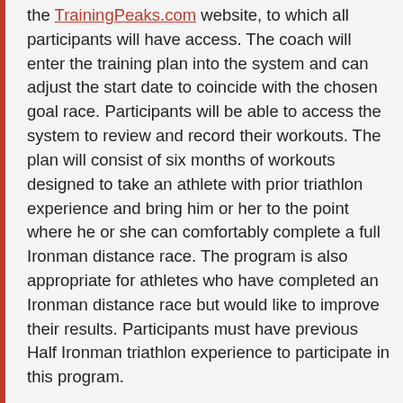the TrainingPeaks.com website, to which all participants will have access. The coach will enter the training plan into the system and can adjust the start date to coincide with the chosen goal race. Participants will be able to access the system to review and record their workouts. The plan will consist of six months of workouts designed to take an athlete with prior triathlon experience and bring him or her to the point where he or she can comfortably complete a full Ironman distance race. The program is also appropriate for athletes who have completed an Ironman distance race but would like to improve their results. Participants must have previous Half Ironman triathlon experience to participate in this program.
Important: After you register, you will receive a Welcome Email and an Athlete Guide with all details about the program including: how to register for Training Peaks, how to choose your training plan and how to subscribe to the Ironman